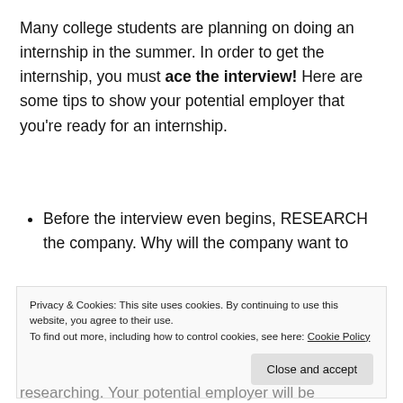Many college students are planning on doing an internship in the summer. In order to get the internship, you must ace the interview! Here are some tips to show your potential employer that you're ready for an internship.
Before the interview even begins, RESEARCH the company. Why will the company want to hear what you can do for them, if you don't...
Privacy & Cookies: This site uses cookies. By continuing to use this website, you agree to their use.
To find out more, including how to control cookies, see here: Cookie Policy
researching. Your potential employer will be